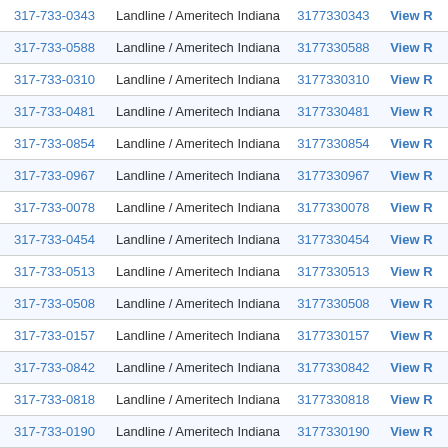| Phone | Type | Number | Action |
| --- | --- | --- | --- |
| 317-733-0343 | Landline / Ameritech Indiana | 3177330343 | View R |
| 317-733-0588 | Landline / Ameritech Indiana | 3177330588 | View R |
| 317-733-0310 | Landline / Ameritech Indiana | 3177330310 | View R |
| 317-733-0481 | Landline / Ameritech Indiana | 3177330481 | View R |
| 317-733-0854 | Landline / Ameritech Indiana | 3177330854 | View R |
| 317-733-0967 | Landline / Ameritech Indiana | 3177330967 | View R |
| 317-733-0078 | Landline / Ameritech Indiana | 3177330078 | View R |
| 317-733-0454 | Landline / Ameritech Indiana | 3177330454 | View R |
| 317-733-0513 | Landline / Ameritech Indiana | 3177330513 | View R |
| 317-733-0508 | Landline / Ameritech Indiana | 3177330508 | View R |
| 317-733-0157 | Landline / Ameritech Indiana | 3177330157 | View R |
| 317-733-0842 | Landline / Ameritech Indiana | 3177330842 | View R |
| 317-733-0818 | Landline / Ameritech Indiana | 3177330818 | View R |
| 317-733-0190 | Landline / Ameritech Indiana | 3177330190 | View R |
| 317-733-0133 | Landline / Ameritech Indiana | 3177330133 | v R |
| 317-733-0689 | Landline / Ameritech Indiana | 3177330689 | ew R |
| 317-733-0776 | Landline / Ameritech Indiana | 3177330776 | View R |
| 317-733-0154 | Landline / Ameritech Indiana | 3177330154 | View R |